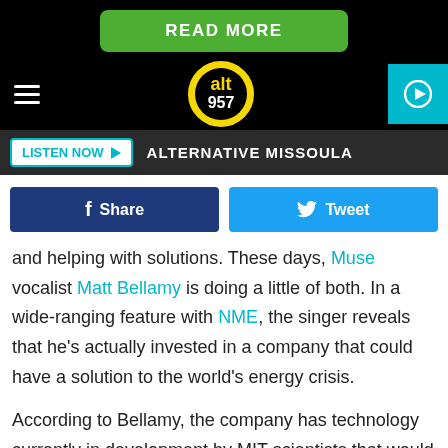[Figure (screenshot): Green READ MORE button on black background]
alt 957 radio station header with hamburger menu, logo, and play button
[Figure (logo): alt 957 circular logo in yellow and black]
LISTEN NOW ▶   ALTERNATIVE MISSOULA
Share   Tweet
and helping with solutions. These days, Muse vocalist Matt Bellamy is doing a little of both. In a wide-ranging feature with NME, the singer reveals that he's actually invested in a company that could have a solution to the world's energy crisis.
According to Bellamy, the company has technology currently in development by MIT scientists that would include firing lasers into the earth's core to vaporize rock and create